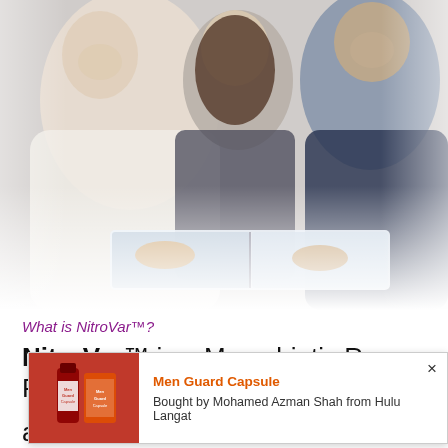[Figure (photo): Three people — an elderly woman, a young girl, and an adult man — smiling and reading a book together. The image fades to white at the bottom edges.]
What is NitroVar™?
NitroVar™ is a Macrobiotic Raw Food in
[Figure (screenshot): Popup notification overlay showing a product image of 'Men Guard Capsule' on a red background, with text 'Men Guard Capsule' in orange and 'Bought by Mohamed Azman Shah from Hulu Langat' in dark text. An × close button is in the top right corner.]
ade